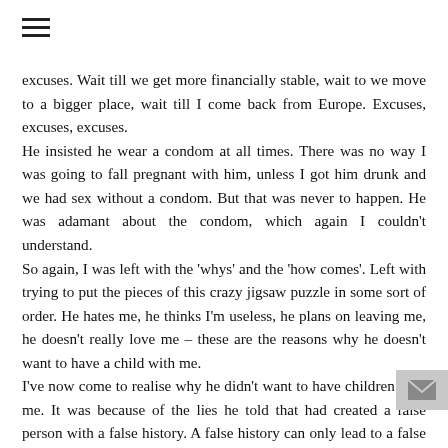≡
excuses. Wait till we get more financially stable, wait to we move to a bigger place, wait till I come back from Europe. Excuses, excuses, excuses.
He insisted he wear a condom at all times. There was no way I was going to fall pregnant with him, unless I got him drunk and we had sex without a condom. But that was never to happen. He was adamant about the condom, which again I couldn't understand.
So again, I was left with the 'whys' and the 'how comes'. Left with trying to put the pieces of this crazy jigsaw puzzle in some sort of order. He hates me, he thinks I'm useless, he plans on leaving me, he doesn't really love me – these are the reasons why he doesn't want to have a child with me.
I've now come to realise why he didn't want to have children with me. It was because of the lies he told that had created a false person with a false history. A false history can only lead to a false present and false future. I was married to a fraud, and this fraud